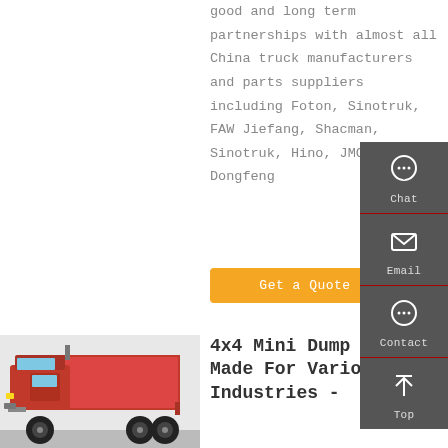good and long term partnerships with almost all China truck manufacturers and parts suppliers including Foton, Sinotruk, FAW Jiefang, Shacman, Sinotruk, Hino, JMC, JAC, Dongfeng
Get a Quote
[Figure (photo): Red 4x4 mini dump truck, side view showing cab and dump bed]
4x4 Mini Dump Truck Made For Various Industries -